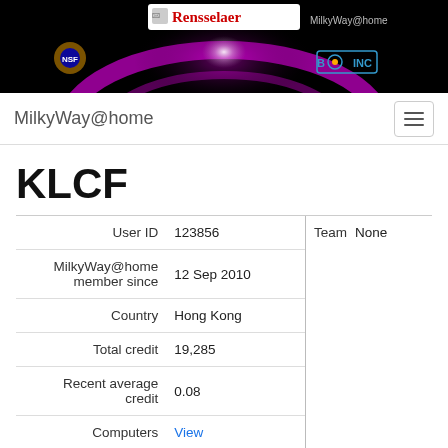[Figure (screenshot): MilkyWay@home website banner with Rensselaer logo, galaxy image, NSF logo, and BOINC logo on black background]
MilkyWay@home
KLCF
| Field | Value |
| --- | --- |
| User ID | 123856 |
| MilkyWay@home member since | 12 Sep 2010 |
| Country | Hong Kong |
| Total credit | 19,285 |
| Recent average credit | 0.08 |
| Computers | View |